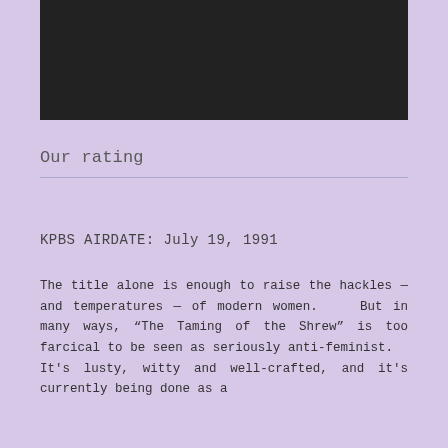[Figure (photo): Dark/black rectangular image block at top of page]
Our rating
KPBS AIRDATE: July 19, 1991
The title alone is enough to raise the hackles — and temperatures — of modern women.   But in many ways, "The Taming of the Shrew" is too farcical to be seen as seriously anti-feminist.   It's lusty, witty and well-crafted, and it's currently being done as a